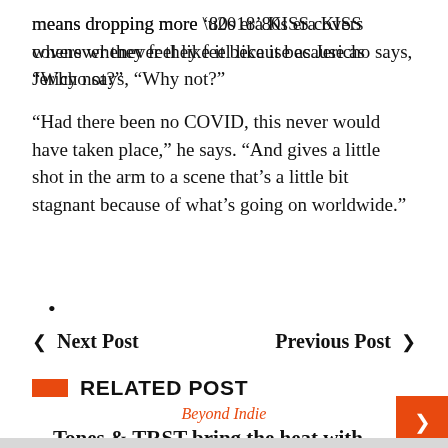means dropping more ‘80s era KISS covers whenever they feel like it because as Jericho says, “Why not?”
“Had there been no COVID, this never would have taken place,” he says. “And gives a little shot in the arm to a scene that’s a little bit stagnant because of what’s going on worldwide.”
•
❮ Next Post   Previous Post ❯
RELATED POST
Beyond Indie
Tones & TRST bring the heat with summer dance anthem “Whistle”